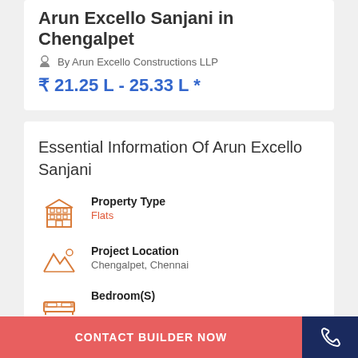Arun Excello Sanjani in Chengalpet
By Arun Excello Constructions LLP
₹ 21.25 L - 25.33 L *
Essential Information Of Arun Excello Sanjani
Property Type: Flats
Project Location: Chengalpet, Chennai
Bedroom(S)
CONTACT BUILDER NOW